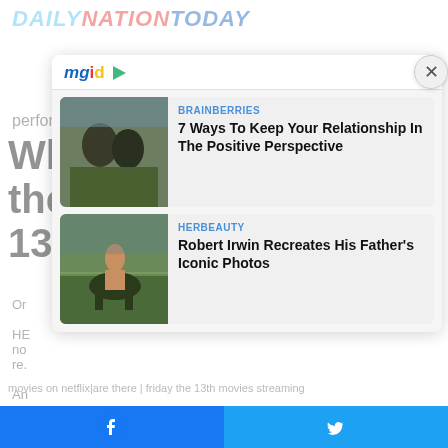DAILYNATIONTODAY
perform stranger things season 4
Where to watch Friday the 13th movies
[Figure (screenshot): mgid content recommendation widget with two cards: 1) BRAINBERRIES - '7 Ways To Keep Your Relationship In The Positive Perspective' with a couple photo; 2) HERBEAUTY - 'Robert Irwin Recreates His Father's Iconic Photos' with a wildlife photo. Has a close X button.]
movies on netflix|are there | friday the 13th movies streaming
Facebook share | Twitter share